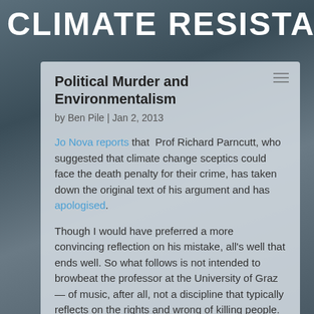CLIMATE RESISTANCE
Political Murder and Environmentalism
by Ben Pile | Jan 2, 2013
Jo Nova reports that Prof Richard Parncutt, who suggested that climate change sceptics could face the death penalty for their crime, has taken down the original text of his argument and has apologised.
Though I would have preferred a more convincing reflection on his mistake, all's well that ends well. So what follows is not intended to browbeat the professor at the University of Graz — of music, after all, not a discipline that typically reflects on the rights and wrong of killing people. Nonetheless, one doesn't get to the position of professor (I used to think) without some